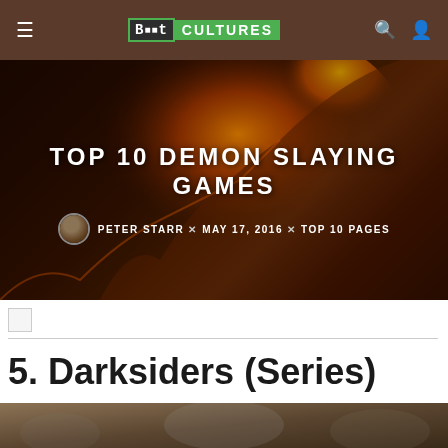Bit Cultures – Top 10 Demon Slaying Games
[Figure (photo): Dark fantasy hero image with fiery demon artwork background for Top 10 Demon Slaying Games article header]
TOP 10 DEMON SLAYING GAMES
PETER STARR × MAY 17, 2016 × TOP 10 PAGES
[Figure (photo): Small broken/missing image placeholder]
5. Darksiders (Series)
[Figure (photo): Darksiders game screenshot at bottom of page]